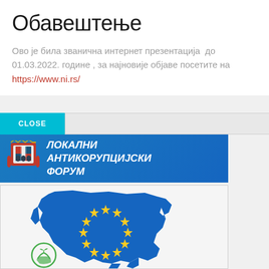Обавештење
Ово је била званична интернет презентација  до 01.03.2022. године , за најновије објаве посетите на https://www.ni.rs/
[Figure (screenshot): CLOSE button and input bar UI element]
[Figure (logo): Локални Антикорупцијски Форум banner with coat of arms logo on blue gradient background]
[Figure (map): Map of Western Balkans overlaid with EU flag stars on blue background, with green eco/environmental logo at bottom left]